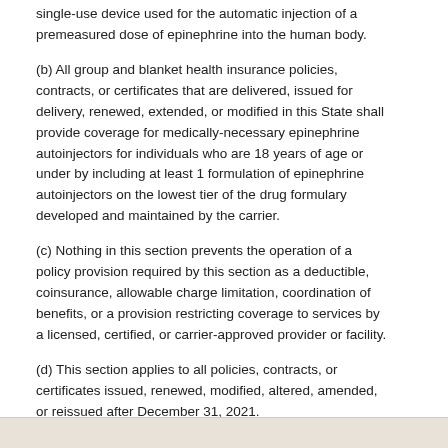single-use device used for the automatic injection of a premeasured dose of epinephrine into the human body.
(b) All group and blanket health insurance policies, contracts, or certificates that are delivered, issued for delivery, renewed, extended, or modified in this State shall provide coverage for medically-necessary epinephrine autoinjectors for individuals who are 18 years of age or under by including at least 1 formulation of epinephrine autoinjectors on the lowest tier of the drug formulary developed and maintained by the carrier.
(c) Nothing in this section prevents the operation of a policy provision required by this section as a deductible, coinsurance, allowable charge limitation, coordination of benefits, or a provision restricting coverage to services by a licensed, certified, or carrier-approved provider or facility.
(d) This section applies to all policies, contracts, or certificates issued, renewed, modified, altered, amended, or reissued after December 31, 2021.
83 Del. Laws, c. 42, § 2;